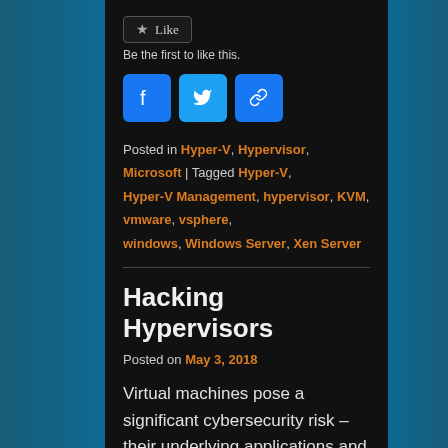[Figure (other): Like button widget with star icon]
Be the first to like this.
[Figure (other): Social sharing icons: Facebook, Twitter, and Link/Copy]
Posted in Hyper-V, Hypervisor, Microsoft | Tagged Hyper-V, Hyper-V Management, hypervisor, KVM, vmware, vsphere, windows, Windows Server, Xen Server
Hacking Hypervisors
Posted on May 3, 2018
Virtual machines pose a significant cybersecurity risk – their underlying applications and data are consumed outside the network by customers, partners, consultants, and LOB workers. Malicious actors who target those individuals and their